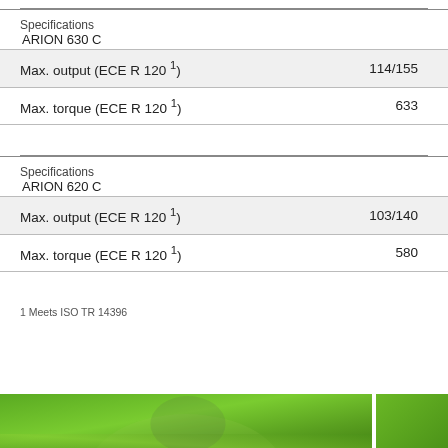Specifications ARION 630 C
| Max. output (ECE R 120 1) | 114/155 |
| Max. torque (ECE R 120 1) | 633 |
Specifications ARION 620 C
| Max. output (ECE R 120 1) | 103/140 |
| Max. torque (ECE R 120 1) | 580 |
1 Meets ISO TR 14396
[Figure (photo): Green grass field, partial view of a tractor, agricultural scene]